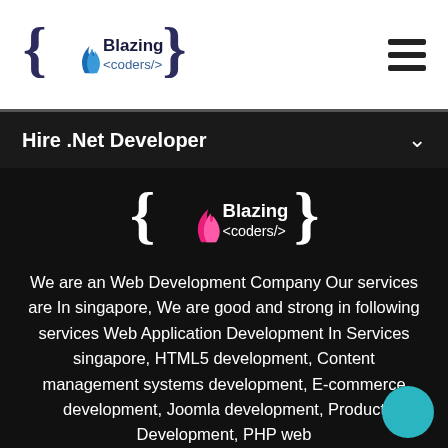Blazing <coders/>
Hire .Net Developer
[Figure (logo): Blazing coders logo with pink flame on dark background, curly braces around text]
We are an Web Development Company Our services are In singapore, We are good and strong in following services Web Application Development In Services singapore, HTML5 development, Content management systems development, E-commerce development, Joomla development, Product Development, PHP web